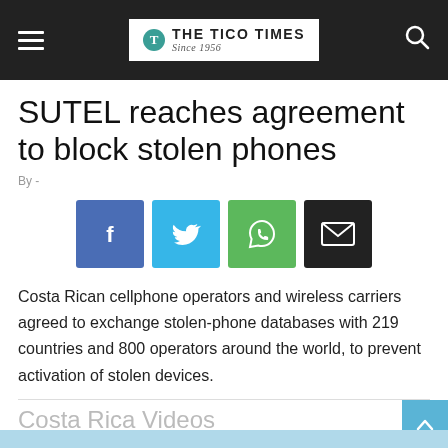THE TICO TIMES Since 1956
SUTEL reaches agreement to block stolen phones
By -
[Figure (infographic): Social sharing buttons: Facebook, Twitter, WhatsApp, Email]
Costa Rican cellphone operators and wireless carriers agreed to exchange stolen-phone databases with 219 countries and 800 operators around the world, to prevent activation of stolen devices.
Costa Rica Videos